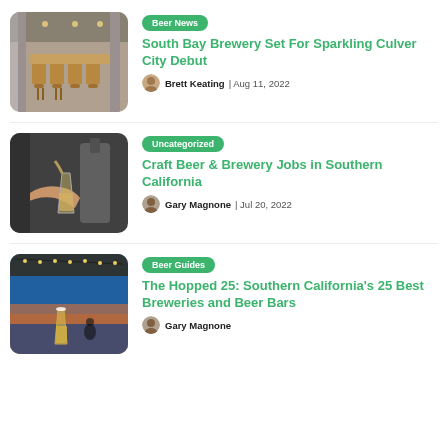[Figure (photo): Interior of a brewery taproom with wooden furniture and industrial ceiling]
Beer News
South Bay Brewery Set For Sparkling Culver City Debut
Brett Keating | Aug 11, 2022
[Figure (photo): Close-up of a hand pouring beer into a glass with brewing equipment in background]
Uncategorized
Craft Beer & Brewery Jobs in Southern California
Gary Magnone | Jul 20, 2022
[Figure (photo): Outdoor brewery or beer bar at sunset with string lights and a glass of beer in foreground]
Beer Guides
The Hopped 25: Southern California's 25 Best Breweries and Beer Bars
Gary Magnone